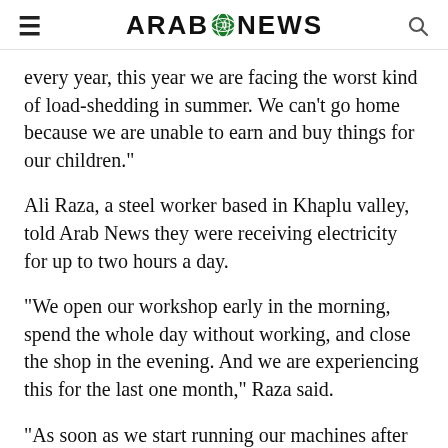ARAB NEWS
every year, this year we are facing the worst kind of load-shedding in summer. We can’t go home because we are unable to earn and buy things for our children.”
Ali Raza, a steel worker based in Khaplu valley, told Arab News they were receiving electricity for up to two hours a day.
“We open our workshop early in the morning, spend the whole day without working, and close the shop in the evening. And we are experiencing this for the last one month,” Raza said.
“As soon as we start running our machines after power supply is resumed, it is disconnected once